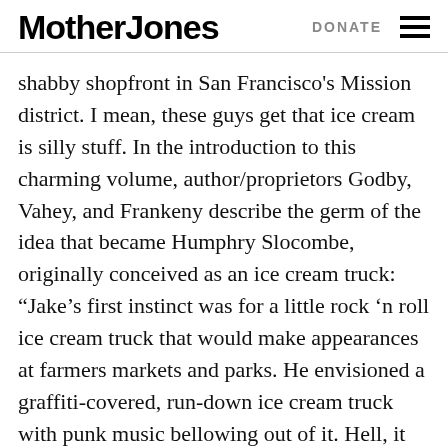Mother Jones | DONATE
shabby shopfront in San Francisco's Mission district. I mean, these guys get that ice cream is silly stuff. In the introduction to this charming volume, author/proprietors Godby, Vahey, and Frankeny describe the germ of the idea that became Humphry Slocombe, originally conceived as an ice cream truck: “Jake’s first instinct was for a little rock ‘n roll ice cream truck that would make appearances at farmers markets and parks. He envisioned a graffiti-covered, run-down ice cream truck with punk music bellowing out of it. Hell, it would basically be CBGBs on wheels, sans needles.” The punk-rock aesthetic extends to some of the ice cream combinations, like the celebrated one featuring bourbon and corn